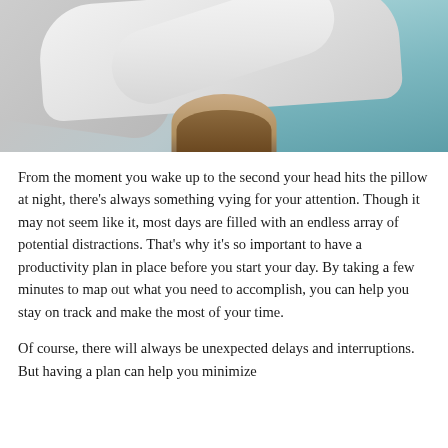[Figure (photo): Overhead view of a person lying in bed wearing white clothing, with teal/light blue blanket on the right side and pillows visible, head of person with brown hair visible at the bottom center of the image]
From the moment you wake up to the second your head hits the pillow at night, there’s always something vying for your attention. Though it may not seem like it, most days are filled with an endless array of potential distractions. That's why it's so important to have a productivity plan in place before you start your day. By taking a few minutes to map out what you need to accomplish, you can help you stay on track and make the most of your time.
Of course, there will always be unexpected delays and interruptions. But having a plan can help you minimize